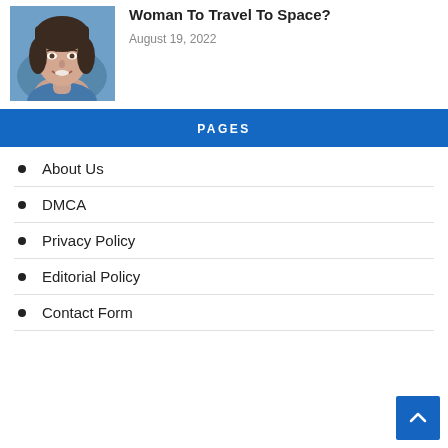[Figure (photo): Headshot of a woman smiling, wearing blue, against a blue background]
Woman To Travel To Space?
August 19, 2022
PAGES
About Us
DMCA
Privacy Policy
Editorial Policy
Contact Form